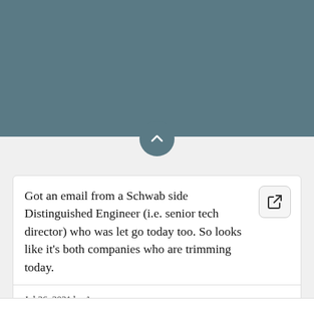[Figure (other): Teal/slate colored header bar with a circular chevron/collapse button at the bottom center]
Got an email from a Schwab side Distinguished Engineer (i.e. senior tech director) who was let go today too. So looks like it's both companies who are trimming today.
Jul 26, 2021 by Anonymous
no reactions
Post ID: @6amm+1bV4c0Hg